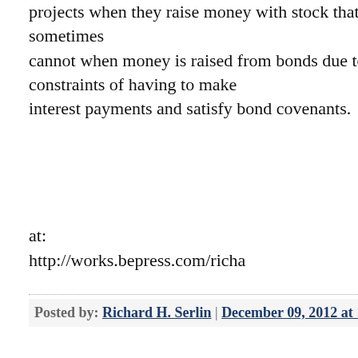projects when they raise money with stock that they sometimes cannot when money is raised from bonds due to the short run constraints of having to make interest payments and satisfy bond covenants.
at:
http://works.bepress.com/richa
Posted by: Richard H. Serlin | December 09, 2012 at 11:44 PM
Nick,
Here's an interesting NY Fed